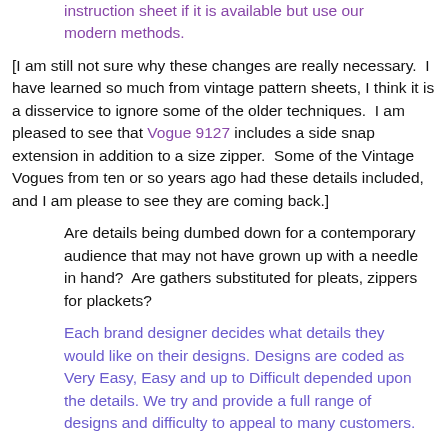instruction sheet if it is available but use our modern methods.
[I am still not sure why these changes are really necessary.  I have learned so much from vintage pattern sheets, I think it is a disservice to ignore some of the older techniques.  I am pleased to see that Vogue 9127 includes a side snap extension in addition to a size zipper.  Some of the Vintage Vogues from ten or so years ago had these details included, and I am please to see they are coming back.]
Are details being dumbed down for a contemporary audience that may not have grown up with a needle in hand?  Are gathers substituted for pleats, zippers for plackets?
Each brand designer decides what details they would like on their designs. Designs are coded as Very Easy, Easy and up to Difficult depended upon the details. We try and provide a full range of designs and difficulty to appeal to many customers.